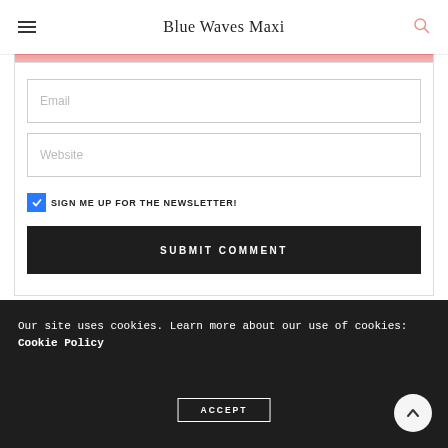Blue Waves Maxi
Email
Website
SIGN ME UP FOR THE NEWSLETTER!
SUBMIT COMMENT
Our site uses cookies. Learn more about our use of cookies: Cookie Policy
ACCEPT